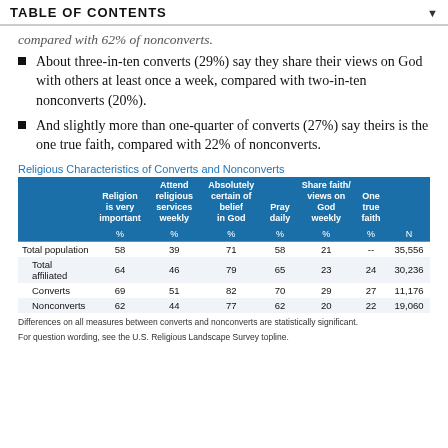TABLE OF CONTENTS
compared with 62% of nonconverts.
About three-in-ten converts (29%) say they share their views on God with others at least once a week, compared with two-in-ten nonconverts (20%).
And slightly more than one-quarter of converts (27%) say theirs is the one true faith, compared with 22% of nonconverts.
Religious Characteristics of Converts and Nonconverts
|  | Religion is very important | Attend religious services weekly | Absolutely certain of belief in God | Pray daily | Share faith/ views on God weekly | One true faith | N |
| --- | --- | --- | --- | --- | --- | --- | --- |
| % | % | % | % | % | % | N |  |
| Total population | 58 | 39 | 71 | 58 | 21 | -- | 35,556 |
| Total affiliated | 64 | 46 | 79 | 65 | 23 | 24 | 30,236 |
| Converts | 69 | 51 | 82 | 70 | 29 | 27 | 11,176 |
| Nonconverts | 62 | 44 | 77 | 62 | 20 | 22 | 19,060 |
Differences on all measures between converts and nonconverts are statistically significant.
For question wording, see the U.S. Religious Landscape Survey topline.